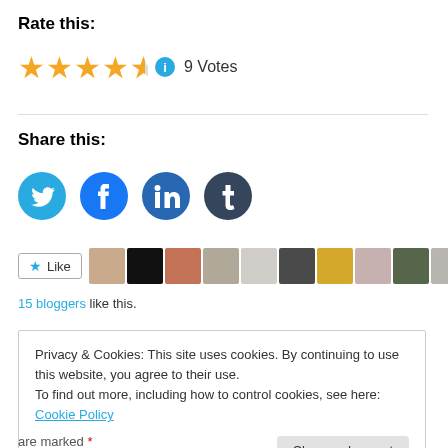Rate this:
[Figure (other): Star rating: 4.5 out of 5 stars with info icon and '9 Votes' label]
Share this:
[Figure (other): Social share buttons: Twitter, Facebook, LinkedIn, Tumblr]
[Figure (other): Like button and 11 blogger avatar thumbnails]
15 bloggers like this.
Privacy & Cookies: This site uses cookies. By continuing to use this website, you agree to their use.
To find out more, including how to control cookies, see here: Cookie Policy
Close and accept
are marked *